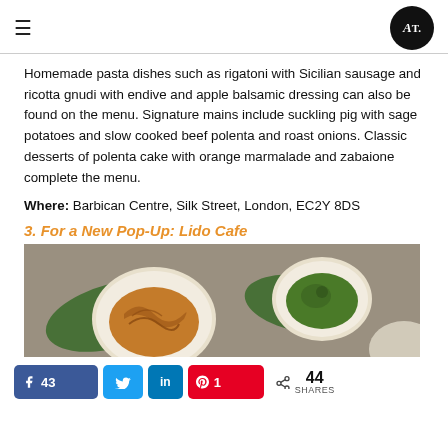≡ AT logo
Homemade pasta dishes such as rigatoni with Sicilian sausage and ricotta gnudi with endive and apple balsamic dressing can also be found on the menu. Signature mains include suckling pig with sage potatoes and slow cooked beef polenta and roast onions. Classic desserts of polenta cake with orange marmalade and zabaione complete the menu.
Where: Barbican Centre, Silk Street, London, EC2Y 8DS
3. For a New Pop-Up: Lido Cafe
[Figure (photo): Overhead view of two bowls on green banana leaves — one with caramelized onions/noodles and one with green herb sauce, on a grey surface.]
Social share buttons: Facebook 43, Twitter, LinkedIn, Pinterest 1, Share 44 SHARES